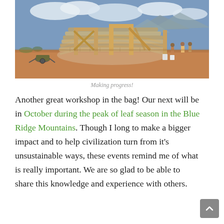[Figure (photo): A construction site showing a round earthbag building being built in a dry desert landscape. Workers are present, there is scaffolding and wooden beams framing doorways, sandbags stacked in circular rows, wheelbarrow in foreground left, mountains visible in background under cloudy sky.]
Making progress!
Another great workshop in the bag! Our next will be in October during the peak of leaf season in the Blue Ridge Mountains. Though I long to make a bigger impact and to help civilization turn from it's unsustainable ways, these events remind me of what is really important. We are so glad to be able to share this knowledge and experience with others.